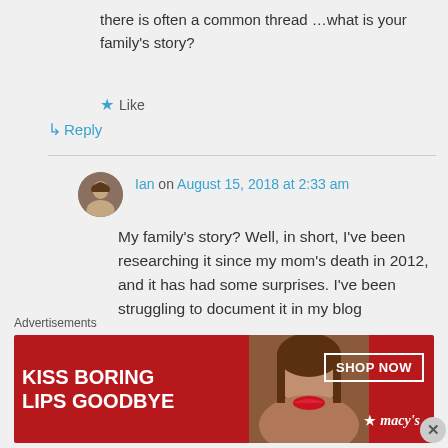there is often a common thread …what is your family's story?
★ Like
↳ Reply
Ian on August 15, 2018 at 2:33 am
My family's story? Well, in short, I've been researching it since my mom's death in 2012, and it has had some surprises. I've been struggling to document it in my blog
Advertisements
[Figure (photo): Macy's advertisement banner: 'KISS BORING LIPS GOODBYE' with a woman's face and red lipstick, SHOP NOW button and Macy's logo]